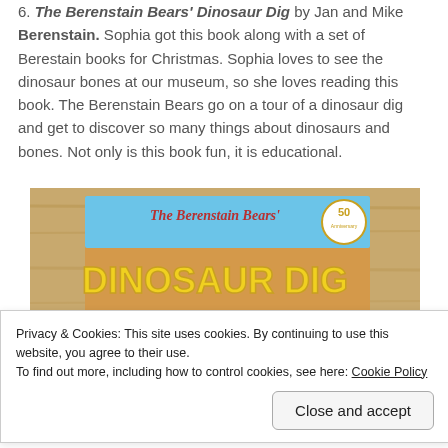6. The Berenstain Bears' Dinosaur Dig by Jan and Mike Berenstain. Sophia got this book along with a set of Berestain books for Christmas. Sophia loves to see the dinosaur bones at our museum, so she loves reading this book. The Berenstain Bears go on a tour of a dinosaur dig and get to discover so many things about dinosaurs and bones. Not only is this book fun, it is educational.
[Figure (photo): Photo of The Berenstain Bears' Dinosaur Dig book cover lying on a wooden surface. The cover shows the title 'The Berenstain Bears' DINOSAUR DIG' with bear characters and a 50th anniversary badge.]
Privacy & Cookies: This site uses cookies. By continuing to use this website, you agree to their use.
To find out more, including how to control cookies, see here: Cookie Policy